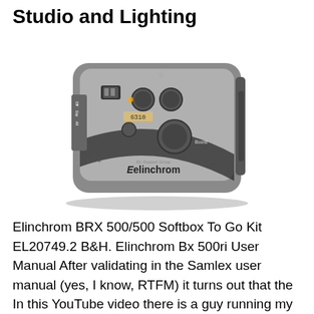Studio and Lighting
[Figure (photo): Elinchrom BRX 500 studio flash unit control panel, viewed from top, showing buttons, knobs, sync port, and Elinchrom branding]
Elinchrom BRX 500/500 Softbox To Go Kit EL20749.2 B&H. Elinchrom Bx 500ri User Manual After validating in the Samlex user manual (yes, I know, RTFM) it turns out that the In this YouTube video there is a guy running my exact